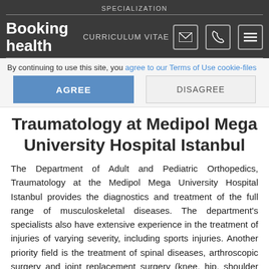SPECIALIZATION
[Figure (logo): Booking Health logo with navigation icons (envelope, phone, hamburger menu) and CURRICULUM VITAE text]
By continuing to use this site, you agree to our Terms of Use cookie-files
AGREE | DISAGREE buttons
Traumatology at Medipol Mega University Hospital Istanbul
The Department of Adult and Pediatric Orthopedics, Traumatology at the Medipol Mega University Hospital Istanbul provides the diagnostics and treatment of the full range of musculoskeletal diseases. The department's specialists also have extensive experience in the treatment of injuries of varying severity, including sports injuries. Another priority field is the treatment of spinal diseases, arthroscopic surgery and joint replacement surgery (knee, hip, shoulder and
Treatment request
injuries of the musculoskeletal system in children. The